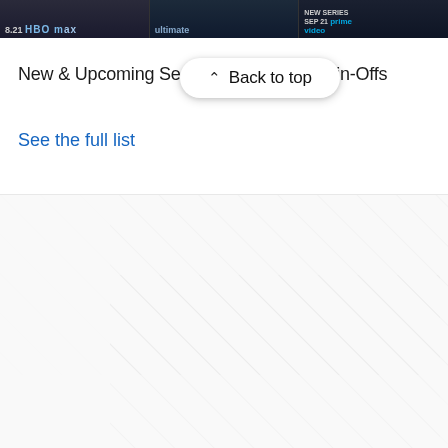[Figure (screenshot): Cropped image strip showing TV/streaming show thumbnails: left panel shows '8.21 HBO Max' text on dark background, middle panel shows 'ultimate' text on dark background, right panel shows 'NEW SERIES SEP 21 prime video' text on dark background.]
New & Upcoming Se… and Spin-Offs
Back to top
See the full list
[Figure (other): Light diagonal hatching pattern on white/light gray background filling the lower half of the page.]